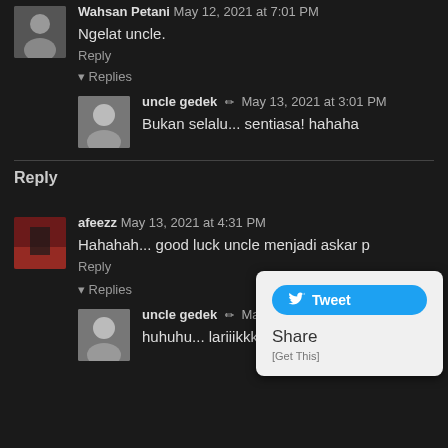Wahsan Petani May 12, 2021 at 7:01 PM
Ngelat uncle.
Reply
▾ Replies
uncle gedek ✏ May 13, 2021 at 3:01 PM
Bukan selalu... sentiasa! hahaha
Reply
afeezz May 13, 2021 at 4:31 PM
Hahahah... good luck uncle menjadi askar p
Reply
▾ Replies
uncle gedek ✏ May 14, 2021 at 4:31 PM
huhuhu... lariiikkkk...!!!
[Figure (screenshot): Twitter Tweet button popup overlay with Share and [Get This] options]